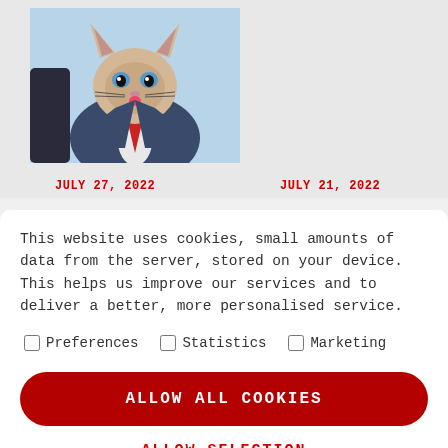[Figure (illustration): Digital illustration of a Siamese cat dressed in a business suit with a red tie, posed in a business-like manner with a blue background.]
JULY 27, 2022
JULY 21, 2022
This website uses cookies, small amounts of data from the server, stored on your device. This helps us improve our services and to deliver a better, more personalised service.
Preferences
Statistics
Marketing
ALLOW ALL COOKIES
ALLOW SELECTION